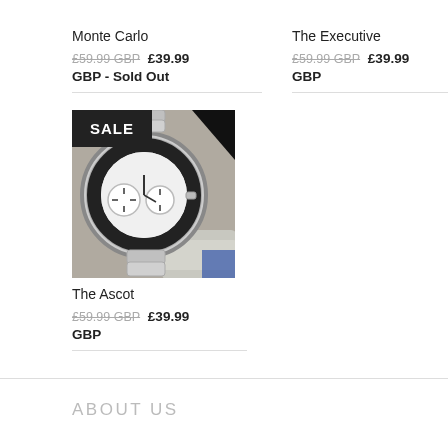Monte Carlo
£59.99 GBP £39.99 GBP - Sold Out
The Executive
£59.99 GBP £39.99 GBP
[Figure (photo): A wristwatch with a silver metal bracelet and a skeleton-style dual-dial face, photographed on a light background. A black SALE badge is overlaid in the top-left corner.]
The Ascot
£59.99 GBP £39.99 GBP
ABOUT US